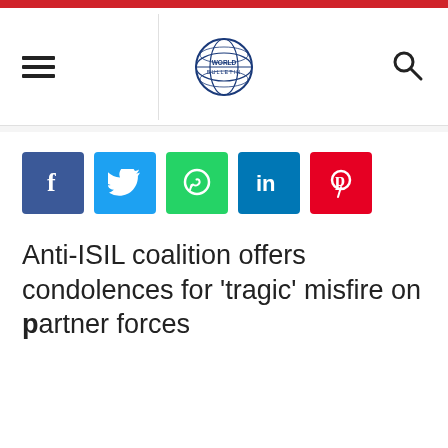[Figure (logo): World Bulletin logo with globe icon and text]
[Figure (infographic): Social share buttons: Facebook, Twitter, WhatsApp, LinkedIn, Pinterest]
Anti-ISIL coalition offers condolences for 'tragic' misfire on partner forces